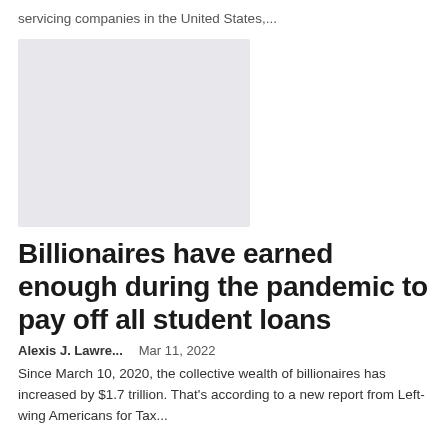servicing companies in the United States,...
[Figure (photo): Gray placeholder image rectangle]
Billionaires have earned enough during the pandemic to pay off all student loans
Alexis J. Lawre...    Mar 11, 2022
Since March 10, 2020, the collective wealth of billionaires has increased by $1.7 trillion. That's according to a new report from Left-wing Americans for Tax...